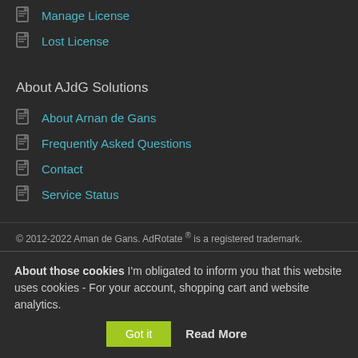Manage License
Lost License
About AJdG Solutions
About Arnan de Gans
Frequently Asked Questions
Contact
Service Status
© 2012-2022 Aman de Gans. AdRotate ® is a registered trademark.
About those cookies I'm obligated to inform you that this website uses cookies - For your account, shopping cart and website analytics.